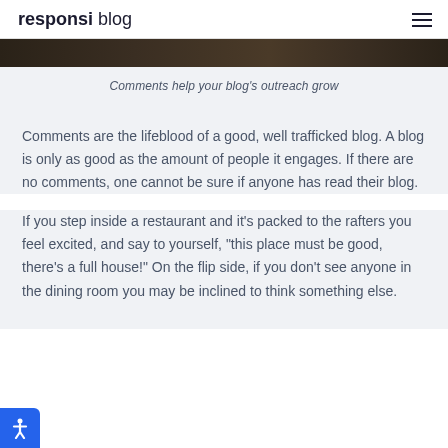responsi blog
[Figure (photo): Partial image strip showing a dark/warm toned photo at the top of the content area]
Comments help your blog's outreach grow
Comments are the lifeblood of a good, well trafficked blog. A blog is only as good as the amount of people it engages. If there are no comments, one cannot be sure if anyone has read their blog.
If you step inside a restaurant and it’s packed to the rafters you feel excited, and say to yourself, “this place must be good, there’s a full house!” On the flip side, if you don’t see anyone in the dining room you may be inclined to think something else.